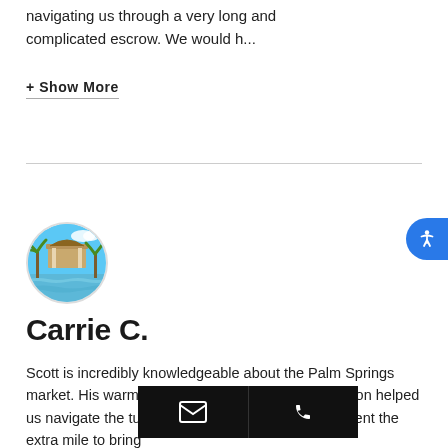navigating us through a very long and complicated escrow. We would h...
+ Show More
[Figure (photo): Circular avatar photo showing a poolside scene with blue sky, palm trees, and turquoise pool water]
Carrie C.
Scott is incredibly knowledgeable about the Palm Springs market. His warm and friendly thoughtful conversation helped us navigate the tumultuous and the economy. He went the extra mile to bring
[Figure (infographic): Black contact bar overlay with email icon and phone icon buttons]